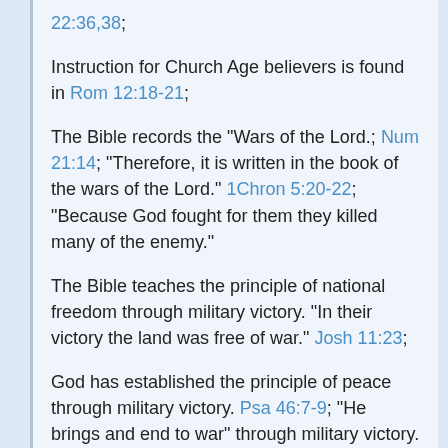22:36,38;
Instruction for Church Age believers is found in Rom 12:18-21;
The Bible records the "Wars of the Lord.; Num 21:14; "Therefore, it is written in the book of the wars of the Lord." 1Chron 5:20-22; "Because God fought for them they killed many of the enemy."
The Bible teaches the principle of national freedom through military victory. "In their victory the land was free of war." Josh 11:23;
God has established the principle of peace through military victory. Psa 46:7-9; "He brings and end to war" through military victory.
God protects His people from evil predator nations that engage in warfare against them; Psa 55:20-23.